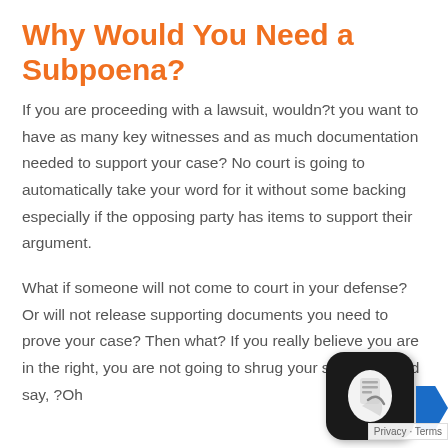Why Would You Need a Subpoena?
If you are proceeding with a lawsuit, wouldn?t you want to have as many key witnesses and as much documentation needed to support your case? No court is going to automatically take your word for it without some backing especially if the opposing party has items to support their argument.
What if someone will not come to court in your defense? Or will not release supporting documents you need to prove your case? Then what? If you really believe you are in the right, you are not going to shrug your shoulders and say, ?Oh...
[Figure (other): App icon overlay (dark rounded square with a stylized paper/scroll icon in white) with a blue arrow to the right, and a Privacy - Terms label at the bottom right corner.]